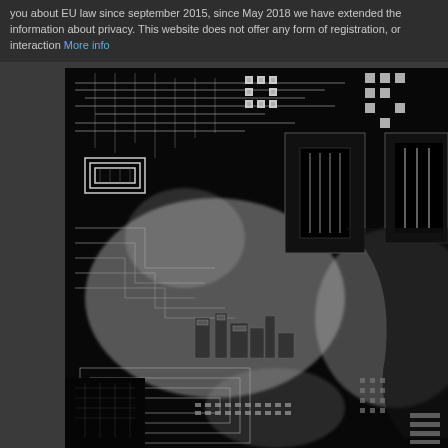you about EU law since september 2015, since May 2018 we have extended the information about privacy. This website does not offer any form of registration, or interaction More info
[Figure (photo): Black and white aerial/macro photograph of what appears to be a circuit board or microchip, showing intricate patterns of electronic components, traces, and structures in high contrast monochrome.]